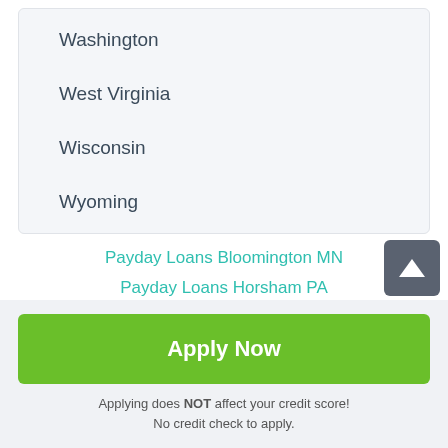Washington
West Virginia
Wisconsin
Wyoming
Payday Loans Bloomington MN
Payday Loans Horsham PA
Apply Now
Applying does NOT affect your credit score! No credit check to apply.